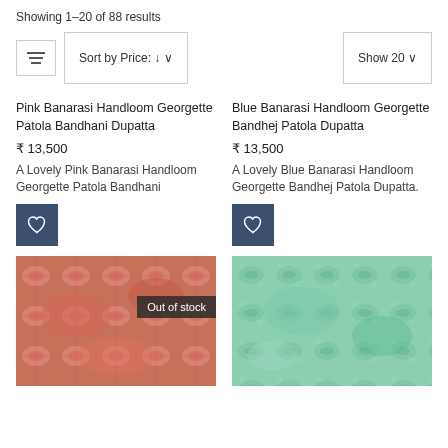Showing 1–20 of 88 results
Sort by Price: ↓ ∨   Show 20 ∨
Pink Banarasi Handloom Georgette Patola Bandhani Dupatta
₹ 13,500
A Lovely Pink Banarasi Handloom Georgette Patola Bandhani
Blue Banarasi Handloom Georgette Bandhej Patola Dupatta
₹ 13,500
A Lovely Blue Banarasi Handloom Georgette Bandhej Patola Dupatta.
[Figure (photo): Pink/red Banarasi handloom georgette fabric with intricate woven patterns, marked as Out of stock]
[Figure (photo): Green/mint Banarasi handloom georgette fabric with floral woven patterns]